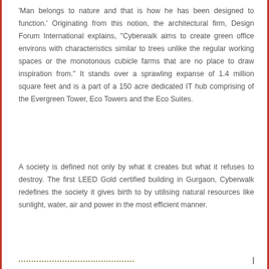'Man belongs to nature and that is how he has been designed to function.' Originating from this notion, the architectural firm, Design Forum International explains, "Cyberwalk aims to create green office environs with characteristics similar to trees unlike the regular working spaces or the monotonous cubicle farms that are no place to draw inspiration from." It stands over a sprawling expanse of 1.4 million square feet and is a part of a 150 acre dedicated IT hub comprising of the Evergreen Tower, Eco Towers and the Eco Suites.
A society is defined not only by what it creates but what it refuses to destroy. The first LEED Gold certified building in Gurgaon, Cyberwalk redefines the society it gives birth to by utilising natural resources like sunlight, water, air and power in the most efficient manner.
................................................................